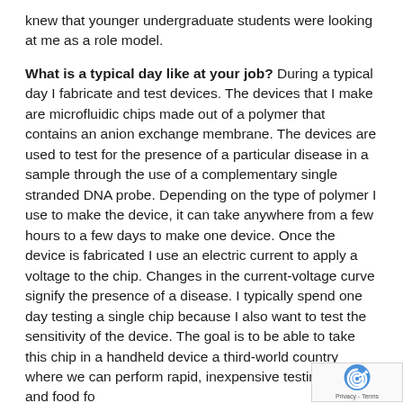knew that younger undergraduate students were looking at me as a role model.

What is a typical day like at your job? During a typical day I fabricate and test devices. The devices that I make are microfluidic chips made out of a polymer that contains an anion exchange membrane. The devices are used to test for the presence of a particular disease in a sample through the use of a complementary single stranded DNA probe. Depending on the type of polymer I use to make the device, it can take anywhere from a few hours to a few days to make one device. Once the device is fabricated I use an electric current to apply a voltage to the chip. Changes in the current-voltage curve signify the presence of a disease. I typically spend one day testing a single chip because I also want to test the sensitivity of the device. The goal is to be able to take this chip in a handheld device a third-world country where we can perform rapid, inexpensive testing of water and food fo... known harmful diseases such as E. Coli or...